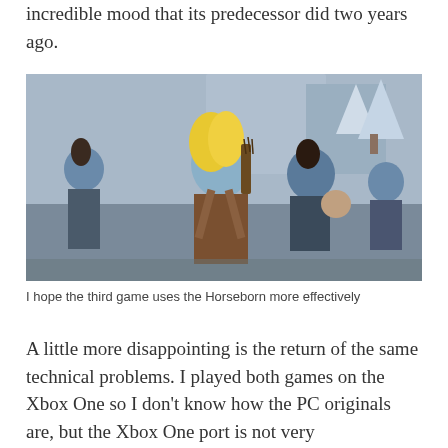incredible mood that its predecessor did two years ago.
[Figure (illustration): Animated fantasy artwork showing a group of warrior characters in a snowy landscape. The central figure is a female archer with long blonde hair and blue skin wearing brown leather armor with a quiver of arrows on her back. Other characters including blue-skinned warriors and a small creature surround her.]
I hope the third game uses the Horseborn more effectively
A little more disappointing is the return of the same technical problems.  I played both games on the Xbox One so I don't know how the PC originals are, but the Xbox One port is not very